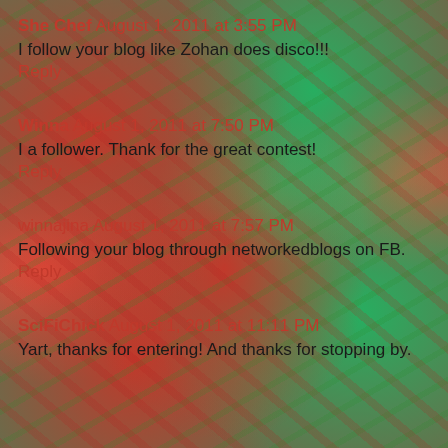She Chef August 1, 2011 at 3:55 PM
I follow your blog like Zohan does disco!!!
Reply
Winna August 1, 2011 at 7:50 PM
I a follower. Thank for the great contest!
Reply
winnajina August 1, 2011 at 7:57 PM
Following your blog through networkedblogs on FB.
Reply
SciFiChick August 1, 2011 at 11:11 PM
Yart, thanks for entering! And thanks for stopping by.